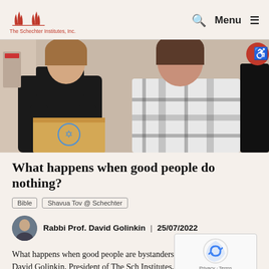The Schechter Institutes, Inc. | Q Menu
[Figure (photo): Two young people standing together, the one on the left wearing a dark puffer jacket holding a cardboard box with a blue design, the one on the right wearing a black and white plaid shirt. Indoor setting with light walls.]
What happens when good people do nothing?
Bible
Shavua Tov @ Schechter
Rabbi Prof. David Golinkin  |  25/07/2022
What happens when good people are bystanders? This week Rabbi Prof. David Golinkin, President of The Schechter Institutes, Inc., draws a parallel between...